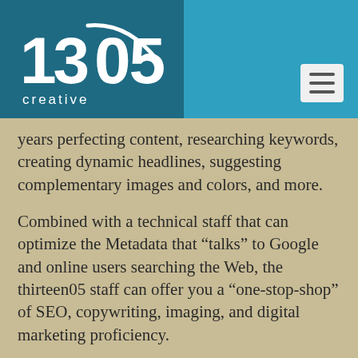[Figure (logo): 1305 Creative logo on dark teal background with navigation menu icon on right]
years perfecting content, researching keywords, creating dynamic headlines, suggesting complementary images and colors, and more.
Combined with a technical staff that can optimize the Metadata that “talks” to Google and online users searching the Web, the thirteen05 staff can offer you a “one-stop-shop” of SEO, copywriting, imaging, and digital marketing proficiency.
Some of the services we provide for On-Page SEO:
We do targeted keyword research to determine which words have the most